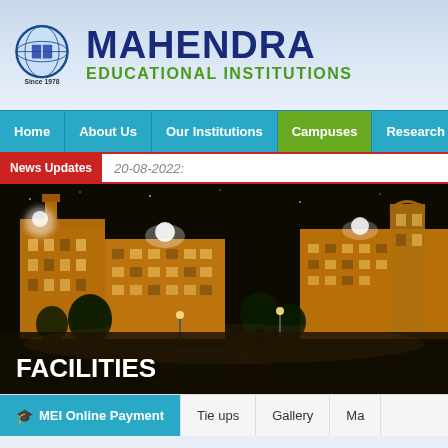[Figure (logo): Mahendra Educational Institutions circular logo with globe and book motif, Since 1978]
MAHENDRA EDUCATIONAL INSTITUTIONS
[Figure (screenshot): Navigation bar with menu items: Home, About Us, Our Institutions, Campuses (active/green), Research]
News Updates   20-08-2022:
[Figure (photo): Night-time photograph of illuminated multi-story college campus buildings in golden/amber light with trees and a roundabout in foreground]
FACILITIES
[Figure (screenshot): Bottom navigation bar with: MEI Online Payment (highlighted in blue), Tie ups, Gallery, Ma(hendra)]